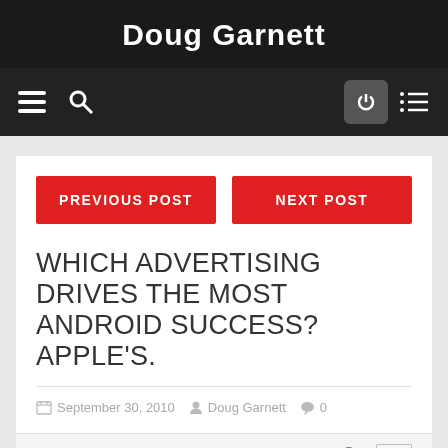Doug Garnett
[Figure (screenshot): Navigation bar with hamburger menu, search icon, power button, and list icon on dark background]
PREVIOUS POST
NEXT POST
WHICH ADVERTISING DRIVES THE MOST ANDROID SUCCESS? APPLE'S.
September 30, 2010  Doug Garnett  0
[Figure (infographic): Social share icons: Facebook, Google+, Twitter, Email]